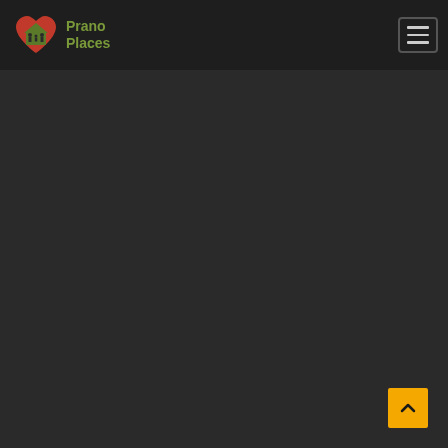[Figure (logo): Prano Places logo: red heart with green house silhouette and family figures inside, with green text 'Prano Places' to the right]
[Figure (other): Hamburger menu button with three horizontal lines, dark background with border]
[Figure (other): Yellow scroll-to-top button with upward chevron arrow, positioned bottom-right]